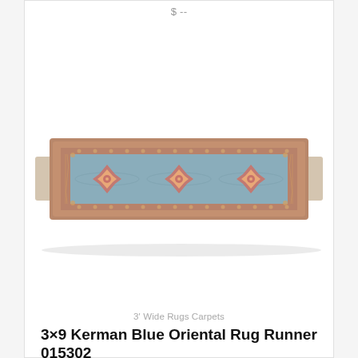$ --
[Figure (photo): A 3x9 Kerman Blue Oriental Rug Runner, elongated rectangle shape with a dusty blue center field decorated with three medallion motifs in coral/rose and gold tones, surrounded by an ornate coral and tan border with floral geometric patterns. The rug has fringe on both short ends.]
3' Wide Rugs Carpets
3×9 Kerman Blue Oriental Rug Runner 015302
$ --